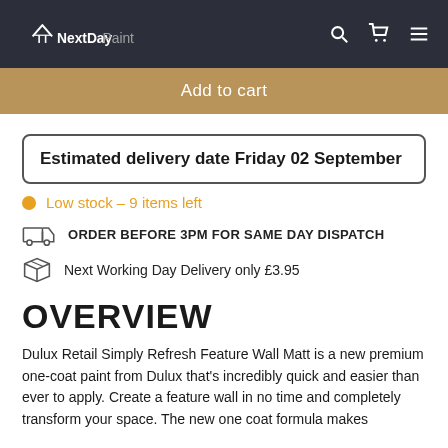NextDayPaint
Add to cart
Estimated delivery date Friday 02 September
Low stock – 9 items left
ORDER BEFORE 3PM FOR SAME DAY DISPATCH
Next Working Day Delivery only £3.95
OVERVIEW
Dulux Retail Simply Refresh Feature Wall Matt is a new premium one-coat paint from Dulux that's incredibly quick and easier than ever to apply. Create a feature wall in no time and completely transform your space. The new one coat formula makes